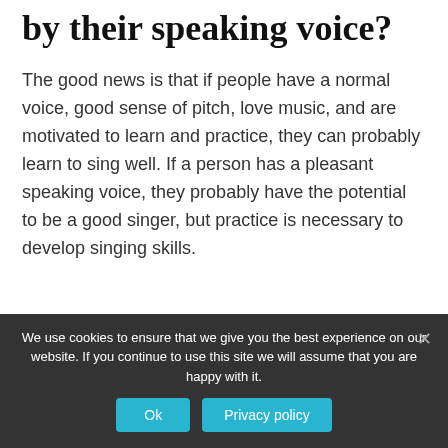by their speaking voice?
The good news is that if people have a normal voice, good sense of pitch, love music, and are motivated to learn and practice, they can probably learn to sing well. If a person has a pleasant speaking voice, they probably have the potential to be a good singer, but practice is necessary to develop singing skills.
[Figure (infographic): OnlineDivorcer advertisement banner showing logo, tagline 'DIVORCE MADE SIMPLE', and cyan checkmark badges for COURT-APPROVED FORMS, $139 FOR ALL DOCUMENTS, FILING INSTRUCTIONS]
We use cookies to ensure that we give you the best experience on our website. If you continue to use this site we will assume that you are happy with it.
Ok   Privacy policy